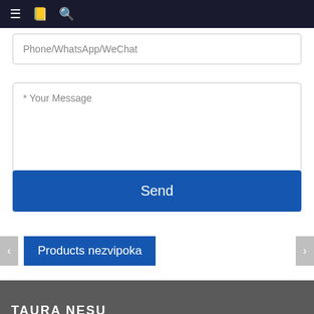≡  📋  🔍
Phone/WhatsApp/WeChat
* Your Message
Send
Products nezvipoka
TAURA NESU